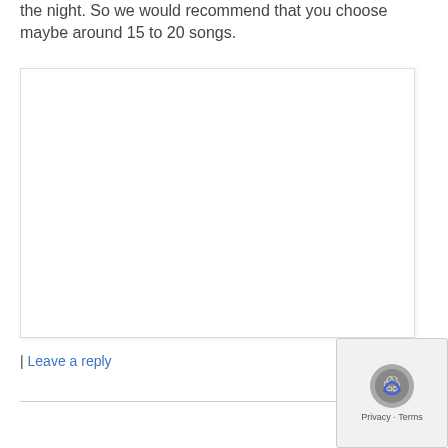the night. So we would recommend that you choose maybe around 15 to 20 songs.
[Figure (other): White rectangular box with light border and subtle shadow, empty content area]
| Leave a reply
[Figure (other): Privacy/reCAPTCHA badge in bottom-right corner with icon and Privacy · Terms text]